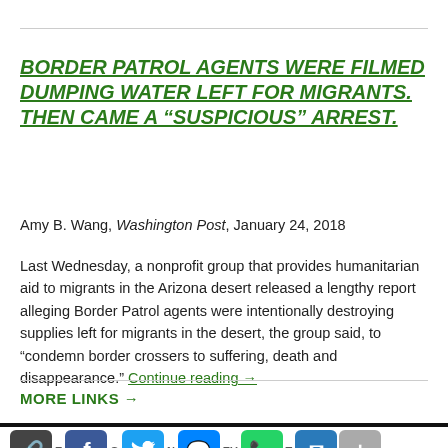BORDER PATROL AGENTS WERE FILMED DUMPING WATER LEFT FOR MIGRANTS. THEN CAME A “SUSPICIOUS” ARREST.
Amy B. Wang, Washington Post, January 24, 2018
Last Wednesday, a nonprofit group that provides humanitarian aid to migrants in the Arizona desert released a lengthy report alleging Border Patrol agents were intentionally destroying supplies left for migrants in the desert, the group said, to “condemn border crossers to suffering, death and disappearance.” Continue reading →
MORE LINKS →